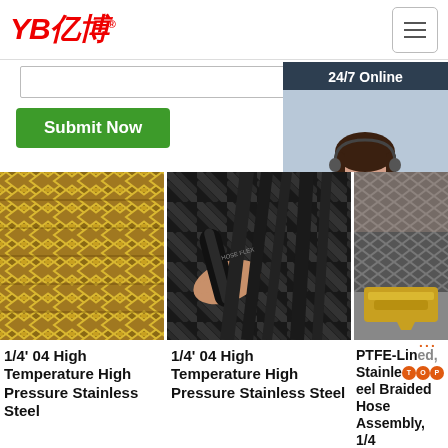[Figure (logo): YB亿博 company logo in red italic text with registered trademark symbol]
[Figure (screenshot): Hamburger menu button (three horizontal lines) in top right corner]
[Figure (screenshot): Search input box]
[Figure (screenshot): Green Submit Now button]
[Figure (screenshot): Dark blue sidebar panel with 24/7 Online label, female agent photo with headset, Click here for free chat text, and orange QUOTATION button]
[Figure (photo): Close-up photo of gold/bronze braided stainless steel high pressure hose]
[Figure (photo): Close-up photo of black braided high pressure hose being held]
[Figure (photo): Partial photo of PTFE-lined stainless steel braided hose assembly with fitting]
1/4' 04 High Temperature High Pressure Stainless Steel
1/4' 04 High Temperature High Pressure Stainless Steel
PTFE-Lined, Stainless Steel Braided Hose Assembly, 1/4